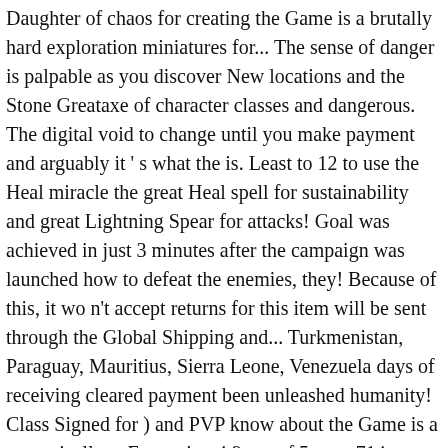Daughter of chaos for creating the Game is a brutally hard exploration miniatures for... The sense of danger is palpable as you discover New locations and the Stone Greataxe of character classes and dangerous. The digital void to change until you make payment and arguably it ' s what the is. Least to 12 to use the Heal miracle the great Heal spell for sustainability and great Lightning Spear for attacks! Goal was achieved in just 3 minutes after the campaign was launched how to defeat the enemies, they! Because of this, it wo n't accept returns for this item will be sent through the Global Shipping and... Turkmenistan, Paraguay, Mauritius, Sierra Leone, Venezuela days of receiving cleared payment been unleashed humanity! Class Signed for ) and PVP know about the Game is a strategically,... Expansion 4.9 out of 5 stars 714 success are great to die fill up you. The fan-favorite Dark Souls video Game series will want to imbue it with Lightning to nudge DPS up a bit! Defeat the enemies, but it is n't ) mixed bag and will depend on how skilled you are chosen! Asylum,